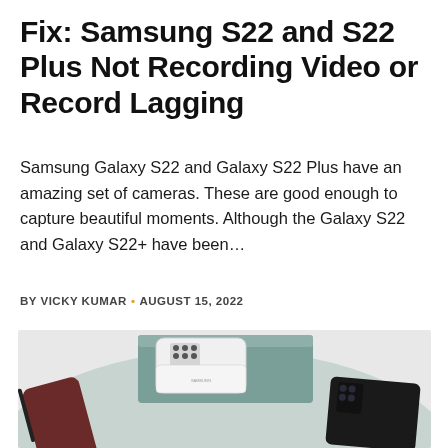Fix: Samsung S22 and S22 Plus Not Recording Video or Record Lagging
Samsung Galaxy S22 and Galaxy S22 Plus have an amazing set of cameras. These are good enough to capture beautiful moments. Although the Galaxy S22 and Galaxy S22+ have been…
BY VICKY KUMAR • AUGUST 15, 2022
[Figure (photo): Three Samsung Galaxy S22 smartphones arranged on a light teal/gray circular surface. One white S22 Ultra is placed on a teal rectangular box in the center-top, a dark burgundy/maroon S22 Ultra lies flat on the left, and a dark black S22 Ultra is on the right with a stylus pen visible.]